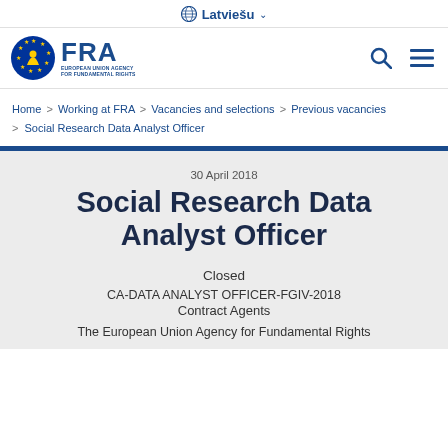Latviešu
[Figure (logo): FRA – European Union Agency for Fundamental Rights logo with EU stars circle emblem]
Home > Working at FRA > Vacancies and selections > Previous vacancies > Social Research Data Analyst Officer
30 April 2018
Social Research Data Analyst Officer
Closed
CA-DATA ANALYST OFFICER-FGIV-2018
Contract Agents
The European Union Agency for Fundamental Rights